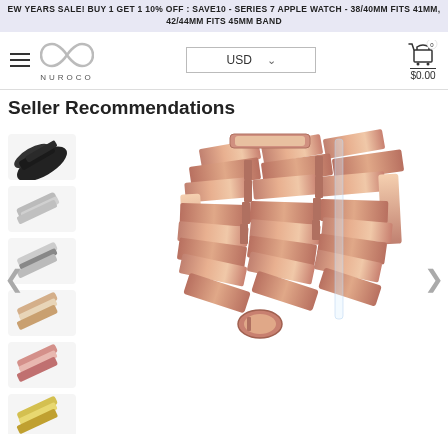EW YEARS SALE! BUY 1 GET 1 10% OFF : SAVE10 - SERIES 7 APPLE WATCH - 38/40MM FITS 41MM, 42/44MM FITS 45MM BAND
[Figure (logo): Nuroco brand logo with infinity symbol and text NUROCO]
USD ˅
[Figure (illustration): Shopping cart icon with 0 badge and $0.00 text]
Seller Recommendations
[Figure (photo): E-commerce product page showing multiple watch band color variants as thumbnails on the left and a main large rose gold stainless steel Apple Watch band on the right. Navigation arrows on both sides.]